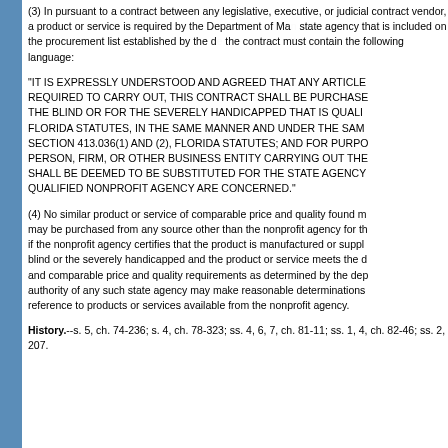(3) In pursuant to a contract between any legislative, executive, or judicial contract vendor, a product or service is required by the Department of Ma... state agency that is included on the procurement list established by the c... the contract must contain the following language:
"IT IS EXPRESSLY UNDERSTOOD AND AGREED THAT ANY ARTICLE... REQUIRED TO CARRY OUT, THIS CONTRACT SHALL BE PURCHASE... THE BLIND OR FOR THE SEVERELY HANDICAPPED THAT IS QUALI... FLORIDA STATUTES, IN THE SAME MANNER AND UNDER THE SAM... SECTION 413.036(1) AND (2), FLORIDA STATUTES; AND FOR PURPO... PERSON, FIRM, OR OTHER BUSINESS ENTITY CARRYING OUT THE... SHALL BE DEEMED TO BE SUBSTITUTED FOR THE STATE AGENCY... QUALIFIED NONPROFIT AGENCY ARE CONCERNED."
(4) No similar product or service of comparable price and quality found m... may be purchased from any source other than the nonprofit agency for th... if the nonprofit agency certifies that the product is manufactured or suppl... blind or the severely handicapped and the product or service meets the d... and comparable price and quality requirements as determined by the de... authority of any such state agency may make reasonable determinations... reference to products or services available from the nonprofit agency.
History.--s. 5, ch. 74-236; s. 4, ch. 78-323; ss. 4, 6, 7, ch. 81-11; ss. 1, 4, ch. 82-46; ss. 2, 207.